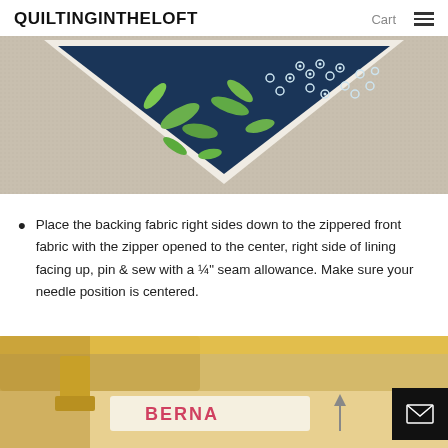QUILTINGINTHELOFT  Cart ≡
[Figure (photo): Close-up of a dark navy blue fabric triangle with a floral/botanical print featuring green leaves and small white circular flower-like dots, placed against a beige textured background. The fabric has white seam allowance visible around the triangle edges.]
Place the backing fabric right sides down to the zippered front fabric with the zipper opened to the center, right side of lining facing up, pin & sew with a ¼" seam allowance. Make sure your needle position is centered.
[Figure (photo): Partial view of a yellow sewing machine foot/presser foot on a quilting/sewing surface, with a Bernina sewing machine visible in the background and an arrow pointing upward.]